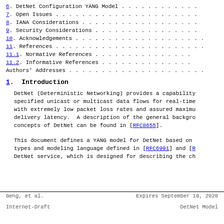6.  DetNet Configuration YANG Model . . . . . . . . . . . .
7.  Open Issues . . . . . . . . . . . . . . . . . . . . . .
8.  IANA Considerations . . . . . . . . . . . . . . . . . .
9.  Security Considerations . . . . . . . . . . . . . . . .
10. Acknowledgements . . . . . . . . . . . . . . . . . . . .
11. References . . . . . . . . . . . . . . . . . . . . . . .
11.1.  Normative References . . . . . . . . . . . . . . .
11.2.  Informative References . . . . . . . . . . . . . .
Authors' Addresses . . . . . . . . . . . . . . . . . . . . .
1.  Introduction
DetNet (Deterministic Networking) provides a capability specified unicast or multicast data flows for real-time with extremely low packet loss rates and assured maximum delivery latency.  A description of the general backgro concepts of DetNet can be found in [RFC8655].
This document defines a YANG model for DetNet based on types and modeling language defined in [RFC6991] and [R DetNet service, which is designed for describing the ch
Geng, et al.              Expires September 10, 2020
Internet-Draft                    DetNet Model